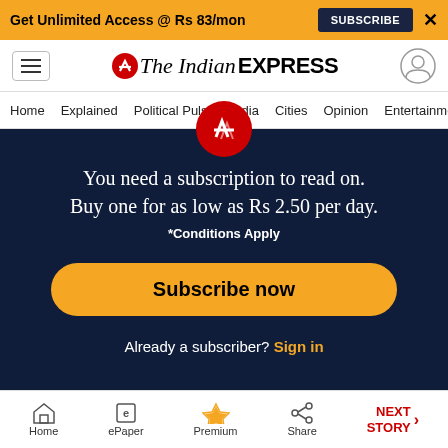Get Unlimited Access @ Rs 83/mon  SUBSCRIBE  X
[Figure (logo): The Indian Express logo with hamburger menu and user icon]
Home  Explained  Political Pulse  India  Cities  Opinion  Entertainment
You need a subscription to read on. Buy one for as low as Rs 2.50 per day. *Conditions Apply
Subscribe now
Already a subscriber? Sign in
Home  ePaper  Premium  Share  NEXT STORY →